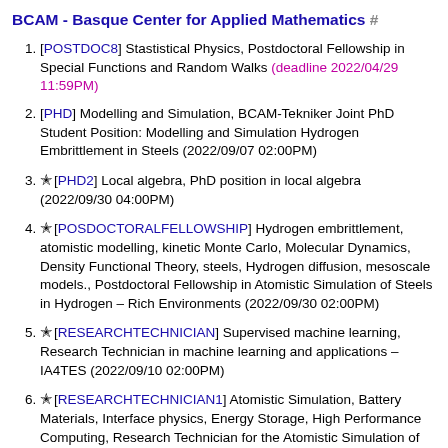BCAM - Basque Center for Applied Mathematics #
[POSTDOC8] Stastistical Physics, Postdoctoral Fellowship in Special Functions and Random Walks (deadline 2022/04/29 11:59PM)
[PHD] Modelling and Simulation, BCAM-Tekniker Joint PhD Student Position: Modelling and Simulation Hydrogen Embrittlement in Steels (2022/09/07 02:00PM)
[PHD2] Local algebra, PhD position in local algebra (2022/09/30 04:00PM)
[POSDOCTORALFELLOWSHIP] Hydrogen embrittlement, atomistic modelling, kinetic Monte Carlo, Molecular Dynamics, Density Functional Theory, steels, Hydrogen diffusion, mesoscale models., Postdoctoral Fellowship in Atomistic Simulation of Steels in Hydrogen – Rich Environments (2022/09/30 02:00PM)
[RESEARCHTECHNICIAN] Supervised machine learning, Research Technician in machine learning and applications – IA4TES (2022/09/10 02:00PM)
[RESEARCHTECHNICIAN1] Atomistic Simulation, Battery Materials, Interface physics, Energy Storage, High Performance Computing, Research Technician for the Atomistic Simulation of Interfaces in Battery Materials (2022/09/30 02:00PM)
[RESEARCHTECHNICIAN2] Computational Physics, Optimization Methods, Software Development, Materials Science, High Performance Computing, Research Technician on...